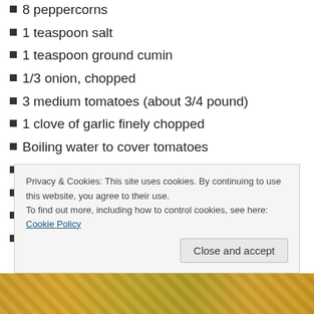8 peppercorns
1 teaspoon salt
1 teaspoon ground cumin
1/3 onion, chopped
3 medium tomatoes (about 3/4 pound)
1 clove of garlic finely chopped
Boiling water to cover tomatoes
2 Tablespoons olive oil
1 medium onion, thinly sliced
4 cups of chicken broth
Avocado, fresh cilantro, lime wedges (for garnish)
Privacy & Cookies: This site uses cookies. By continuing to use this website, you agree to their use. To find out more, including how to control cookies, see here: Cookie Policy
[Figure (photo): Food photo at the bottom of the page showing colorful dish]